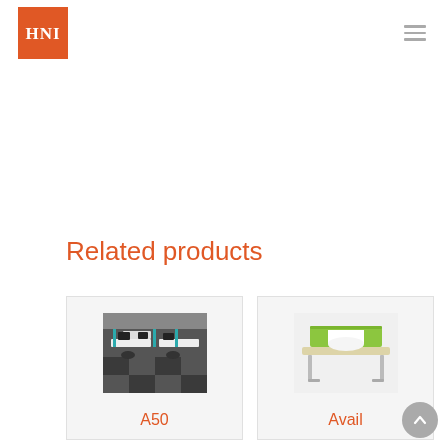HNI
Related products
[Figure (photo): Office workstation setup with white desks and teal/blue panels and monitors]
A50
[Figure (photo): Modern bench desk with green privacy panel and metallic legs]
Avail